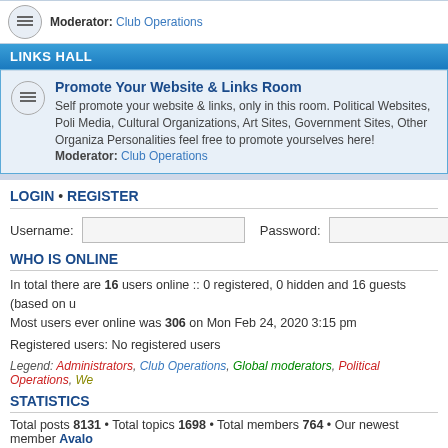Moderator: Club Operations
LINKS HALL
Promote Your Website & Links Room
Self promote your website & links, only in this room. Political Websites, Poli... Media, Cultural Organizations, Art Sites, Government Sites, Other Organiza... Personalities feel free to promote yourselves here!
Moderator: Club Operations
LOGIN • REGISTER
Username:
Password:
WHO IS ONLINE
In total there are 16 users online :: 0 registered, 0 hidden and 16 guests (based on u...
Most users ever online was 306 on Mon Feb 24, 2020 3:15 pm
Registered users: No registered users
Legend: Administrators, Club Operations, Global moderators, Political Operations, We...
STATISTICS
Total posts 8131 • Total topics 1698 • Total members 764 • Our newest member Avalo...
Board index
IPC operating since March 30, 2000